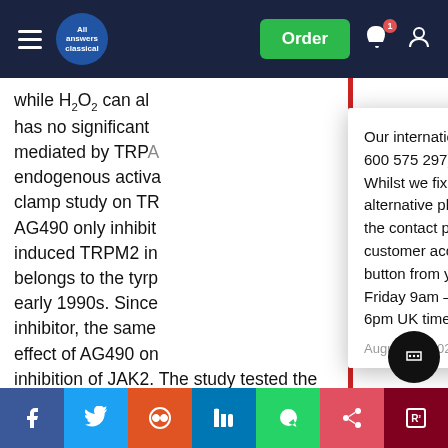All Answers Classical — Order button, notification bell, user icon
while H₂O₂ can al... has no significant ... mediated by TRPA... endogenous activa... clamp study on TR... AG490 only inhibit... induced TRPM2 in... belongs to the tyrp... early 1990s. Since... inhibitor, the same... effect of AG490 on... inhibition of JAK2. The study tested the effects of other JAK2 inhibitors, none of which had an effect on H₂O₂-induced Ca²⁺ increase by TRPM2 channels. Thus, the results suggested that the inhibitory effect of AG490 on TRPM2 ac... bition¹²⁰. Hence, AG490 may manifest its inhibitory effect by
Our international phone number (+971 600 575 297) is currently out of service. Whilst we fix this, please use the alternative phone numbers provided on the contact page, message through your customer account or click the WhatsApp button from your mobile (Monday – Friday 9am – 5pm, Saturday 10am – 6pm UK time).
August 20, 2022
Share buttons: Facebook, Twitter, Reddit, LinkedIn, WhatsApp, Mix, ResearchGate